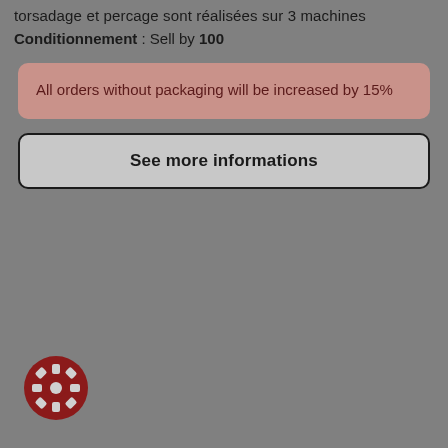torsadage et percage sont réalisées sur 3 machines
Conditionnement : Sell by 100
All orders without packaging will be increased by 15%
See more informations
[Figure (other): Dark red circular gear/settings icon button in bottom left corner]